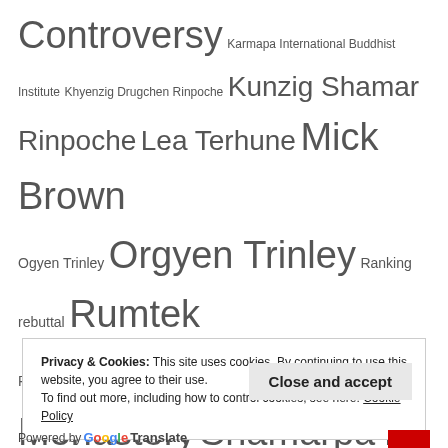Controversy Karmapa International Buddhist Institute Khyenzig Drugchen Rinpoche Kunzig Shamar Rinpoche Lea Terhune Mick Brown Ogyen Trinley Orgyen Trinley Ranking rebuttal Rumtek Rumtek court case Rumtek Monastery Shamarpa Tai Situ Rinpoche Tenzin Namgyal The Dance of 17 Lives Thrangu Rinpoche Time magazine Topga Rinpoche Ugyen Thinley
Privacy & Cookies: This site uses cookies. By continuing to use this website, you agree to their use. To find out more, including how to control cookies, see here: Cookie Policy
Close and accept
Powered by Google Translate